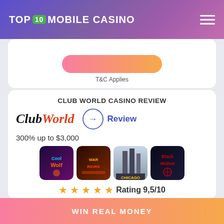TOP 10 MOBILE CASINO
T&C Applies
CLUB WORLD CASINO REVIEW
[Figure (logo): ClubWorld casino logo with Club in black italic and World in red italic]
Review
300% up to $3,000
[Figure (illustration): Four casino game thumbnails: Cool Wolf, Warriors (or similar), Chicago, Black Widow]
Rating 9,5/10
Claim Bonus →
T&C Applies
WIN REAL MONEY